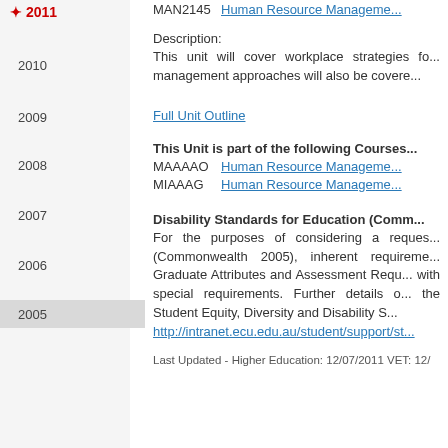2011
2010
2009
2008
2007
2006
2005
MAN2145    Human Resource Management
Description:
This unit will cover workplace strategies fo... management approaches will also be covere...
Full Unit Outline
This Unit is part of the following Courses
MAAAAO    Human Resource Management
MIAAAG    Human Resource Management
Disability Standards for Education (Comm...
For the purposes of considering a reques... (Commonwealth 2005), inherent requireme... Graduate Attributes and Assessment Requ... with special requirements. Further details o... the Student Equity, Diversity and Disability S... http://intranet.ecu.edu.au/student/support/st...
Last Updated - Higher Education: 12/07/2011 VET: 12/